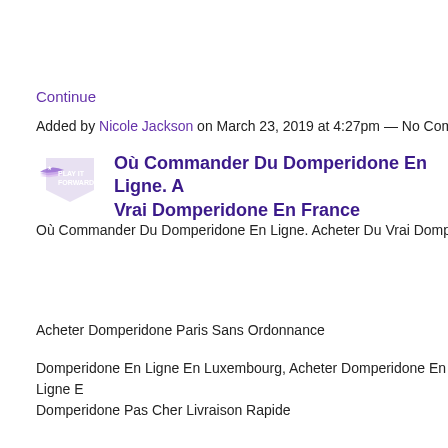Continue
Added by Nicole Jackson on March 23, 2019 at 4:27pm — No Comments
Où Commander Du Domperidone En Ligne. A Vrai Domperidone En France
Où Commander Du Domperidone En Ligne. Acheter Du Vrai Domperidone
Acheter Domperidone Paris Sans Ordonnance
Domperidone En Ligne En Luxembourg, Acheter Domperidone En Ligne E Domperidone Pas Cher Livraison Rapide